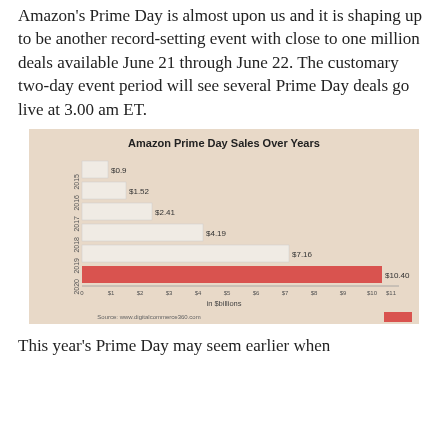Amazon's Prime Day is almost upon us and it is shaping up to be another record-setting event with close to one million deals available June 21 through June 22.  The customary two-day event period will see several Prime Day deals go live at 3.00 am ET.
[Figure (bar-chart): Amazon Prime Day Sales Over Years]
This year's Prime Day may seem earlier when